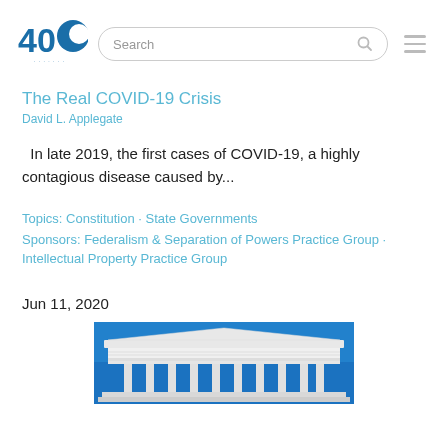40 [logo] Search [menu]
The Real COVID-19 Crisis
David L. Applegate
In late 2019, the first cases of COVID-19, a highly contagious disease caused by...
Topics: Constitution · State Governments
Sponsors: Federalism & Separation of Powers Practice Group · Intellectual Property Practice Group
Jun 11, 2020
[Figure (photo): Photo of a courthouse or Supreme Court building portico against a blue sky]